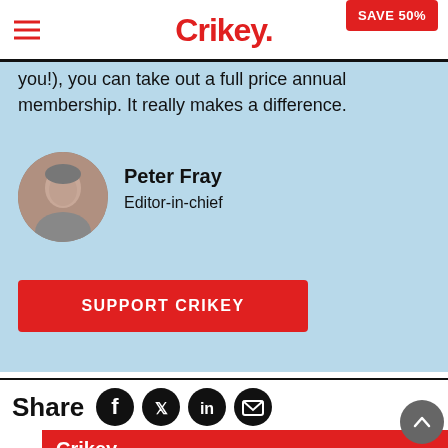Crikey. SAVE 50%
you!), you can take out a full price annual membership. It really makes a difference.
[Figure (photo): Circular headshot portrait of Peter Fray, an older man]
Peter Fray
Editor-in-chief
SUPPORT CRIKEY
Share
[Figure (infographic): Social share icons: Facebook, Twitter, LinkedIn, Email]
[Figure (logo): Crikey. logo on red background banner]
[Figure (other): Scroll to top circular grey button with up chevron]